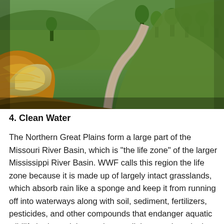[Figure (photo): Aerial landscape photo of the Northern Great Plains showing a winding dirt road through golden grasslands with green hills and trees in the background under warm golden-hour light.]
4. Clean Water
The Northern Great Plains form a large part of the Missouri River Basin, which is "the life zone" of the larger Mississippi River Basin. WWF calls this region the life zone because it is made up of largely intact grasslands, which absorb rain like a sponge and keep it from running off into waterways along with soil, sediment, fertilizers, pesticides, and other compounds that endanger aquatic wildlife in rivers, lakes and even all the way down in the Gulf of Mexico. Grassland-friendly policies in the Farm Bill can help to preserve this vital ecosystem. Protecting threatened grasslands can save the same amount of water that's used by 11.6 million households.